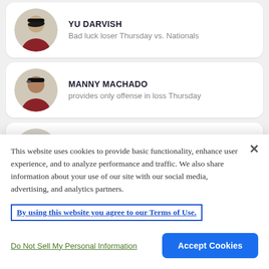YU DARVISH - Bad luck loser Thursday vs. Nationals
MANNY MACHADO - provides only offense in loss Thursday
ALEX BREGMAN - has monster game, goes deep twice in win
[Figure (photo): Partial fourth player card, cut off]
This website uses cookies to provide basic functionality, enhance user experience, and to analyze performance and traffic. We also share information about your use of our site with our social media, advertising, and analytics partners.
By using this website you agree to our Terms of Use.
Do Not Sell My Personal Information
Accept Cookies